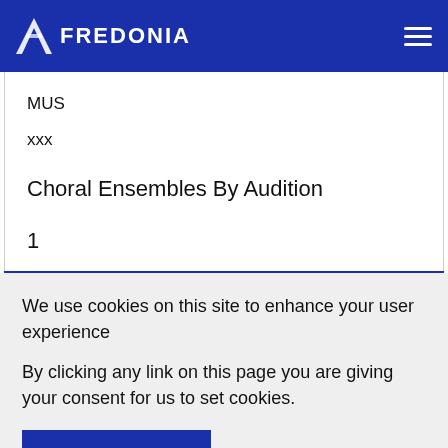FREDONIA
MUS
xxx
Choral Ensembles By Audition
1
We use cookies on this site to enhance your user experience
By clicking any link on this page you are giving your consent for us to set cookies.
OK, I AGREE